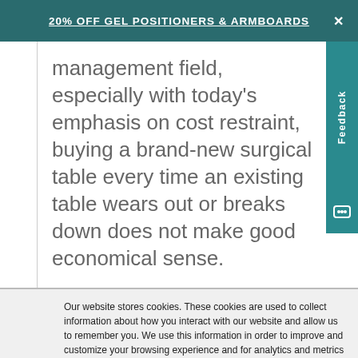20% OFF GEL POSITIONERS & ARMBOARDS
management field, especially with today's emphasis on cost restraint, buying a brand-new surgical table every time an existing table wears out or breaks down does not make good economical sense.
Our website stores cookies. These cookies are used to collect information about how you interact with our website and allow us to remember you. We use this information in order to improve and customize your browsing experience and for analytics and metrics about our visitors both on this website and other media. To find out more about the cookies we use, see our Privacy Policy.